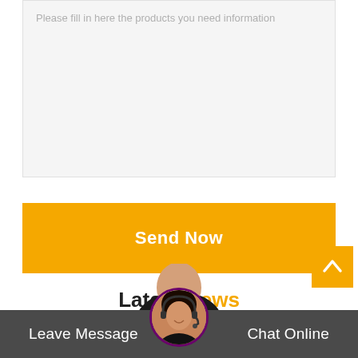Please fill in here the products you need information
Send Now
Latest News
Leave Message
Chat Online
[Figure (photo): Customer service representative avatar photo in circular frame with purple border, shown at bottom center of page]